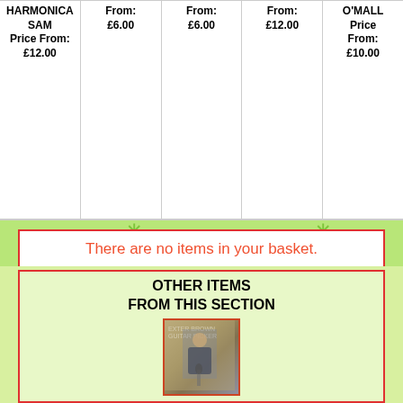| HARMONICA SAM |  |  |  | O'MALL |
| --- | --- | --- | --- | --- |
| HARMONICA SAM Price From: £12.00 | From: £6.00 | From: £6.00 | From: £12.00 | O'MALL Price From: £10.00 |
There are no items in your basket.
basket | checkout
Log In Here
OTHER ITEMS FROM THIS SECTION
[Figure (photo): Album cover photo showing a man at a microphone, vintage record cover]
1, BOSTON ROCKER:2, GUITAR PICKER